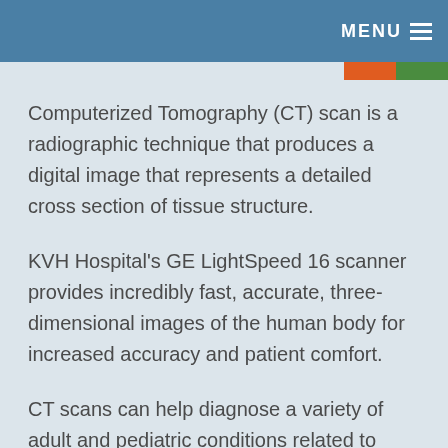MENU
Computerized Tomography (CT) scan is a radiographic technique that produces a digital image that represents a detailed cross section of tissue structure.
KVH Hospital's GE LightSpeed 16 scanner provides incredibly fast, accurate, three-dimensional images of the human body for increased accuracy and patient comfort.
CT scans can help diagnose a variety of adult and pediatric conditions related to inner ear ailments, cancer, strokes, heart and lung physiology; organ pathology and function; and traumatic bone and soft